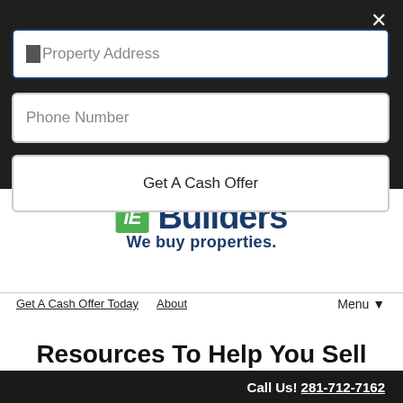[Figure (screenshot): Modal overlay with dark background containing a 'Property Address' text input (focused, with blue border), a 'Phone Number' text input, a 'Get A Cash Offer' button, and a close X button in the top right.]
[Figure (logo): iE Builders logo: green square with 'iE' in white italic font, followed by 'Builders' in bold dark navy, with tagline 'We buy properties.' in navy below.]
Get A Cash Offer Today   About
Menu ▼
Resources To Help You Sell
Call Us! 281-712-7162